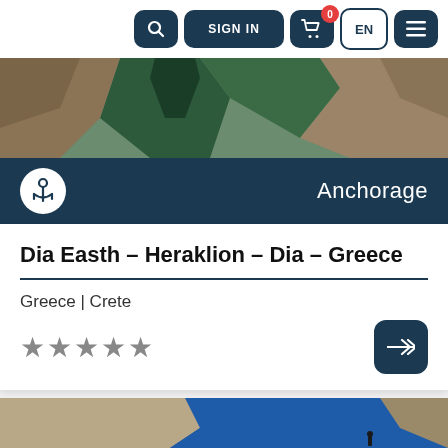[Figure (screenshot): Website navigation bar with search, sign in, cart (0), EN, and menu buttons on dark navy background buttons]
[Figure (photo): Aerial satellite view of Dia island east coast and Heraklion bay with green-blue water and rocky coastline]
Anchorage
Dia Easth - Heraklion - Dia - Greece
Greece | Crete
[Figure (photo): Aerial photograph of a deep blue cove surrounded by rocky limestone cliffs with a small figure visible on the cliff edge]